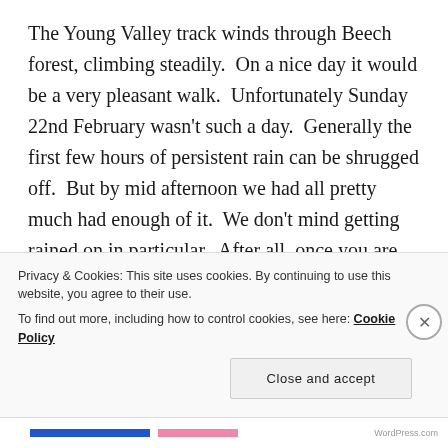The Young Valley track winds through Beech forest, climbing steadily.  On a nice day it would be a very pleasant walk.  Unfortunately Sunday 22nd February wasn't such a day.  Generally the first few hours of persistent rain can be shrugged off.  But by mid afternoon we had all pretty much had enough of it.  We don't mind getting rained on in particular.  After all, once you are wet, you are wet.  What the rain does do though, is isolate you.  With a jacket hood up your peripheral vision is reduced.  The constant pattering sound of rain on it makes conversation difficult.
Privacy & Cookies: This site uses cookies. By continuing to use this website, you agree to their use.
To find out more, including how to control cookies, see here: Cookie Policy
Close and accept